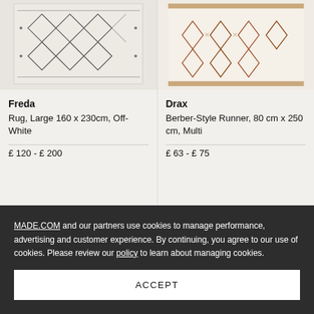[Figure (photo): Freda rug with Berber-style geometric pattern in off-white and dark grey, top portion visible]
[Figure (photo): Drax Berber-Style Runner with multi-colour geometric pattern, top portion visible]
Freda
Rug, Large 160 x 230cm, Off-White
£ 120 - £ 200
Drax
Berber-Style Runner, 80 cm x 250 cm, Multi
£ 63 - £ 75
Sale
MADE.COM and our partners use cookies to manage performance, advertising and customer experience. By continuing, you agree to our use of cookies. Please review our policy to learn about managing cookies.
ACCEPT